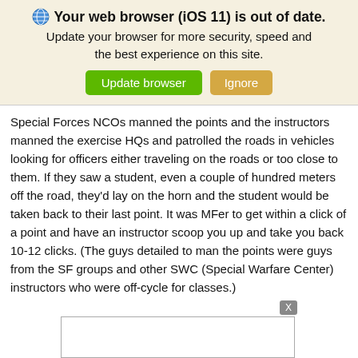🌐 Your web browser (iOS 11) is out of date. Update your browser for more security, speed and the best experience on this site. [Update browser] [Ignore]
Special Forces NCOs manned the points and the instructors manned the exercise HQs and patrolled the roads in vehicles looking for officers either traveling on the roads or too close to them. If they saw a student, even a couple of hundred meters off the road, they'd lay on the horn and the student would be taken back to their last point. It was MFer to get within a click of a point and have an instructor scoop you up and take you back 10-12 clicks. (The guys detailed to man the points were guys from the SF groups and other SWC (Special Warfare Center) instructors who were off-cycle for classes.)
[Figure (other): Advertisement close button (X) and empty white ad box with border]